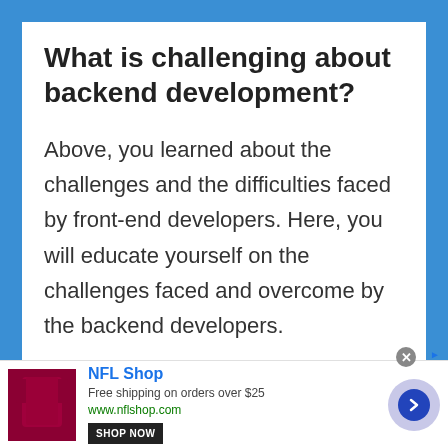What is challenging about backend development?
Above, you learned about the challenges and the difficulties faced by front-end developers. Here, you will educate yourself on the challenges faced and overcome by the backend developers.
[Figure (other): Advertisement banner for NFL Shop. Shows NFL Shop logo/image on left (dark red jersey), brand name 'NFL Shop' in blue, text 'Free shipping on orders over $25', URL 'www.nflshop.com', a 'SHOP NOW' button, and a blue arrow button on the right side.]